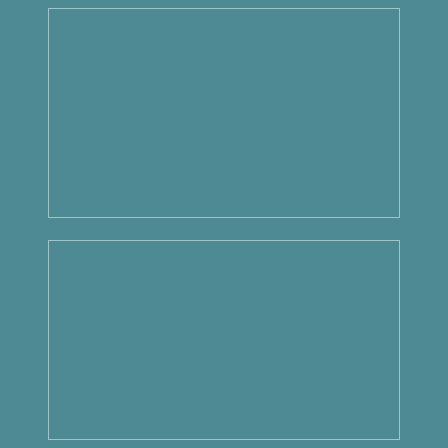$10.00
THE DANGERS OF HOOKUP CULTURE!